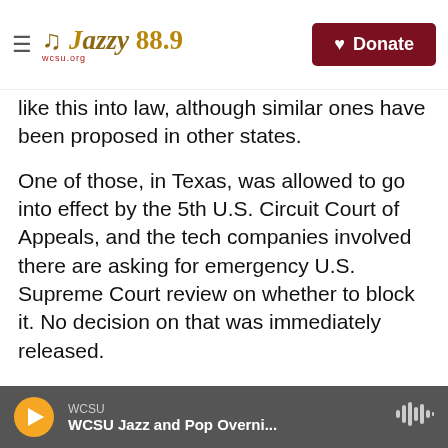Jazzy 88.9 WCSU — Donate
like this into law, although similar ones have been proposed in other states.
One of those, in Texas, was allowed to go into effect by the 5th U.S. Circuit Court of Appeals, and the tech companies involved there are asking for emergency U.S. Supreme Court review on whether to block it. No decision on that was immediately released.
The Computer & Communications Industry Association, a nonprofit group representing tech and communications companies, said the ruling represents a victory for internet users and free
WCSU — WCSU Jazz and Pop Overni...